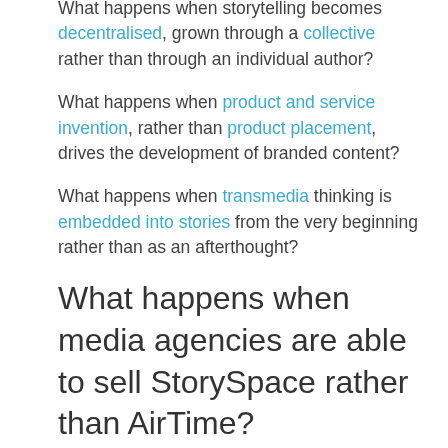What happens when storytelling becomes decentralised, grown through a collective rather than through an individual author?
What happens when product and service invention, rather than product placement, drives the development of branded content?
What happens when transmedia thinking is embedded into stories from the very beginning rather than as an afterthought?
What happens when media agencies are able to sell StorySpace rather than AirTime?
What happens when the best of Hollywood is brought together with the best of Web 2.0?